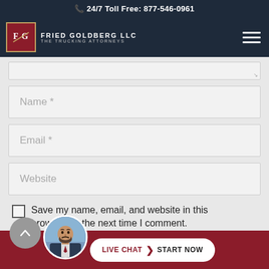📞 24/7 Toll Free: 877-546-0961
[Figure (logo): Fried Goldberg LLC - The Trucking Attorneys logo with FG monogram in red box with gold border, white text on dark navy background]
Name *
Email *
Website
Save my name, email, and website in this browser for the next time I comment.
[Figure (screenshot): Live Chat - Start Now button with attorney avatar photo, on dark red bottom bar]